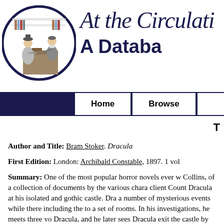[Figure (illustration): Circular illustration with dark navy border showing two people at a desk — a woman in Victorian dress and a man behind a counter, in a library/circulation setting. Black and white engraving style.]
At the Circulati
A Databa
Home | Browse
T
Author and Title: Bram Stoker. Dracula
First Edition: London: Archibald Constable, 1897. 1 vol
Summary: One of the most popular horror novels ever w Collins, of a collection of documents by the various chara client Count Dracula at his isolated and gothic castle. Dra a number of mysterious events while there including the to a set of rooms. In his investigations, he meets three vo Dracula, and he later sees Dracula exit the castle by climb